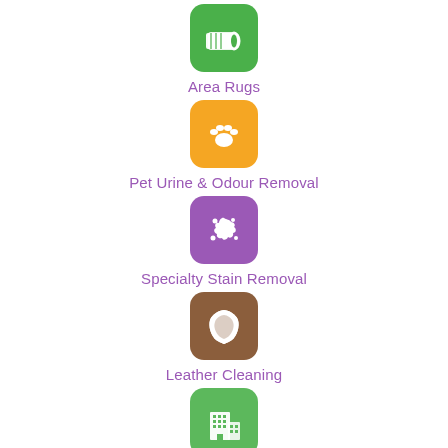[Figure (illustration): Green rounded square icon with a rolled rug/carpet image in white]
Area Rugs
[Figure (illustration): Yellow/gold rounded square icon with a paw print in white]
Pet Urine & Odour Removal
[Figure (illustration): Purple rounded square icon with a stain/splatter shape in white]
Specialty Stain Removal
[Figure (illustration): Brown rounded square icon with a leather hide shape in white]
Leather Cleaning
[Figure (illustration): Green rounded square icon with a commercial building in white]
Commercial Cleaning